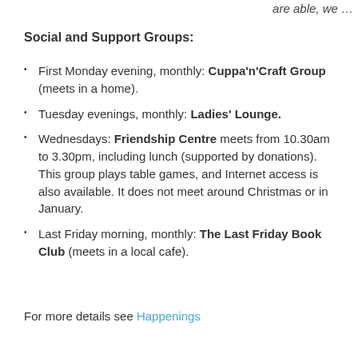are able, we …
Social and Support Groups:
First Monday evening, monthly: Cuppa'n'Craft Group (meets in a home).
Tuesday evenings, monthly: Ladies' Lounge.
Wednesdays: Friendship Centre meets from 10.30am to 3.30pm, including lunch (supported by donations). This group plays table games, and Internet access is also available. It does not meet around Christmas or in January.
Last Friday morning, monthly: The Last Friday Book Club (meets in a local cafe).
For more details see Happenings